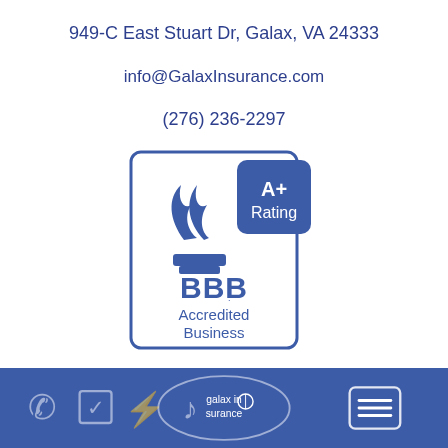949-C East Stuart Dr, Galax, VA 24333
info@GalaxInsurance.com
(276) 236-2297
[Figure (logo): BBB Accredited Business logo with A+ Rating badge and torch flame icon]
[Figure (logo): Footer navigation bar with phone, checkbox, lightning bolt icons, galax insurance logo in center, and menu icon on right]